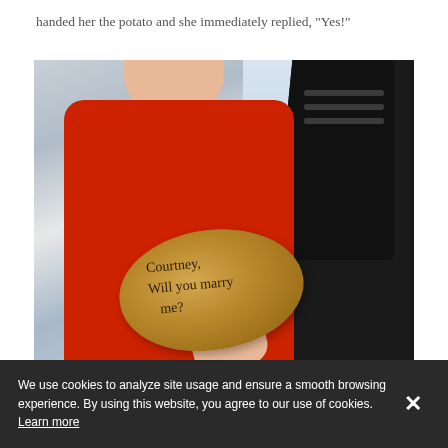handed her the potato and she immediately replied, "Yes!"
[Figure (photo): A person in a red tank top holds a potato with the text 'Courtney, Will you marry me?' written on it. Another person in a black top stands behind. Outdoor setting with sky and greenery in background.]
We use cookies to analyze site usage and ensure a smooth browsing experience. By using this website, you agree to our use of cookies. Learn more